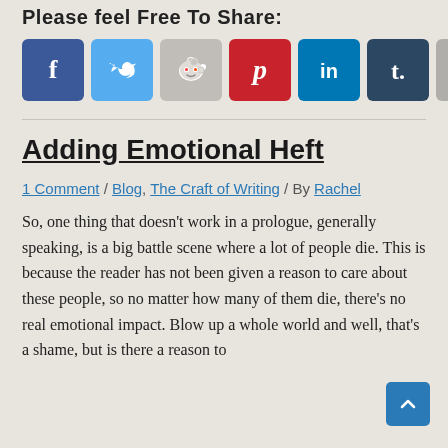Please feel Free To Share:
[Figure (infographic): Social media sharing icons: Facebook (blue), Twitter (light blue), Reddit (gray with orange alien), Pinterest (red), LinkedIn (dark blue), Tumblr (dark teal), Email (gray)]
Adding Emotional Heft
1 Comment / Blog, The Craft of Writing / By Rachel
So, one thing that doesn't work in a prologue, generally speaking, is a big battle scene where a lot of people die. This is because the reader has not been given a reason to care about these people, so no matter how many of them die, there's no real emotional impact. Blow up a whole world and well, that's a shame, but is there a reason to